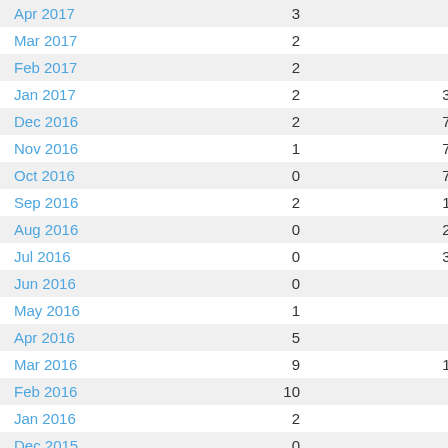| Month | Col1 | Col2 |
| --- | --- | --- |
| Apr 2017 | 3 | 10 |
| Mar 2017 | 2 | 7 |
| Feb 2017 | 2 | 8 |
| Jan 2017 | 2 | 34 |
| Dec 2016 | 2 | 75 |
| Nov 2016 | 1 | 74 |
| Oct 2016 | 0 | 73 |
| Sep 2016 | 2 | 17 |
| Aug 2016 | 0 | 23 |
| Jul 2016 | 0 | 39 |
| Jun 2016 | 0 | 5 |
| May 2016 | 1 | 7 |
| Apr 2016 | 5 | 6 |
| Mar 2016 | 9 | 17 |
| Feb 2016 | 10 | 6 |
| Jan 2016 | 2 | 8 |
| Dec 2015 | 0 | 5 |